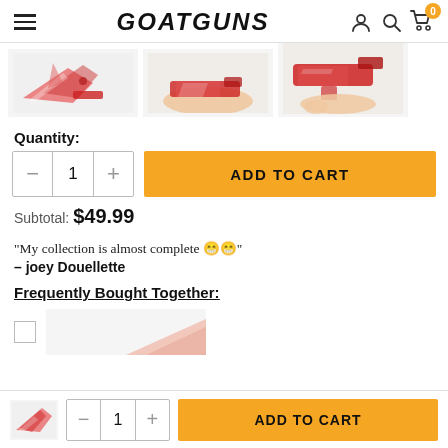GOATGUNS
[Figure (photo): Three product images of a red camouflage miniature pistol model: disassembled parts view, held in hand, and assembled side view]
Quantity:
— 1 + ADD TO CART
Subtotal: $49.99
"My collection is almost complete 😁😁"
— joey Douellette
Frequently Bought Together:
[Figure (photo): Checkbox and partial product image for a frequently bought together item]
[Figure (photo): Bottom bar with miniature pistol image, quantity selector — 1 +, and ADD TO CART button]